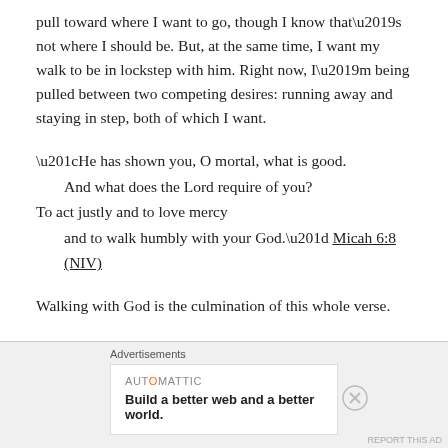pull toward where I want to go, though I know that’s not where I should be. But, at the same time, I want my walk to be in lockstep with him. Right now, I’m being pulled between two competing desires: running away and staying in step, both of which I want.
“He has shown you, O mortal, what is good.
    And what does the Lord require of you?
To act justly and to love mercy
    and to walk humbly with your God.” Micah 6:8 (NIV)
Walking with God is the culmination of this whole verse.
Advertisements
AUTOMATTIC
Build a better web and a better world.